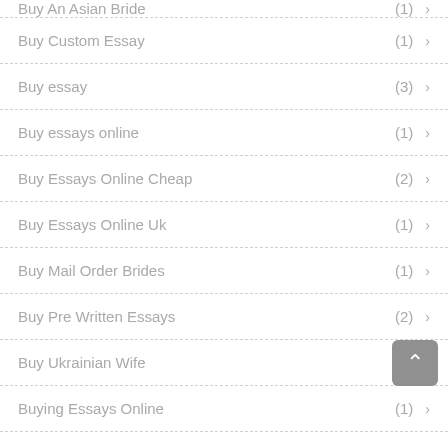Buy Custom Essay (1)
Buy essay (3)
Buy essays online (1)
Buy Essays Online Cheap (2)
Buy Essays Online Uk (1)
Buy Mail Order Brides (1)
Buy Pre Written Essays (2)
Buy Ukrainian Wife (1)
Buying Essays Online (1)
Caffmos tips (1)
cambodian mail order brides (1)